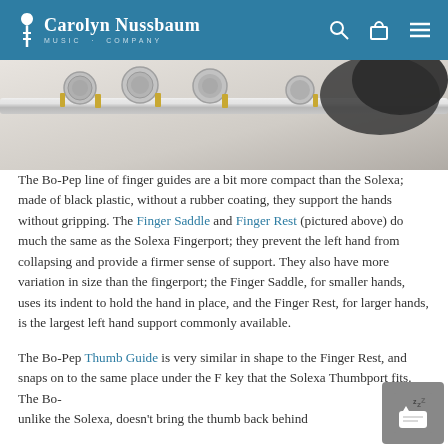Carolyn Nussbaum Music Company
[Figure (photo): Close-up photograph of a silver flute's keys and keywork with a black mouthpiece visible]
The Bo-Pep line of finger guides are a bit more compact than the Solexa; made of black plastic, without a rubber coating, they support the hands without gripping. The Finger Saddle and Finger Rest (pictured above) do much the same as the Solexa Fingerport; they prevent the left hand from collapsing and provide a firmer sense of support. They also have more variation in size than the fingerport; the Finger Saddle, for smaller hands, uses its indent to hold the hand in place, and the Finger Rest, for larger hands, is the largest left hand support commonly available.
The Bo-Pep Thumb Guide is very similar in shape to the Finger Rest, and snaps on to the same place under the F key that the Solexa Thumbport fits. The Bo-Pep, unlike the Solexa, doesn't bring the thumb back behind